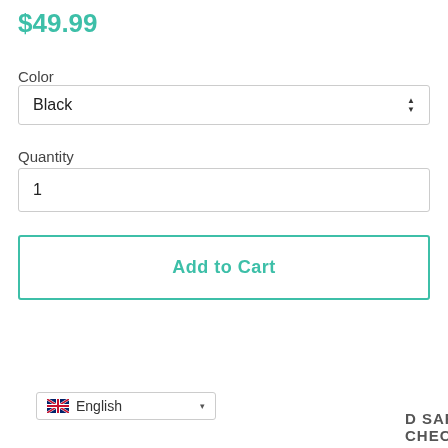$49.99
Color
Black
Quantity
1
Add to Cart
English
SAFE CHECKOUT